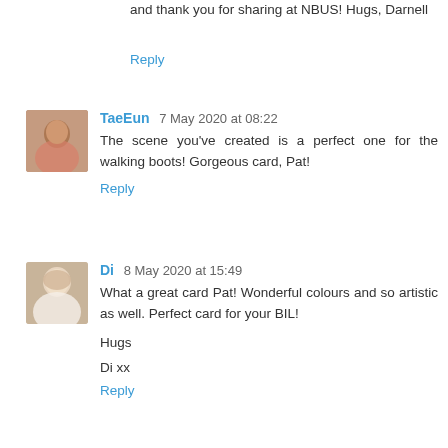and thank you for sharing at NBUS! Hugs, Darnell
Reply
TaeEun 7 May 2020 at 08:22
The scene you've created is a perfect one for the walking boots! Gorgeous card, Pat!
Reply
Di 8 May 2020 at 15:49
What a great card Pat! Wonderful colours and so artistic as well. Perfect card for your BIL!
Hugs
Di xx
Reply